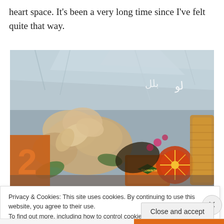heart space. It’s been a very long time since I’ve felt quite that way.
[Figure (photo): A photograph showing a decorative display with colorful flowers, mylar/foil reflective background, a Stewarts brand product in orange packaging, festive ornaments, and a wicker basket with decorative items.]
Privacy & Cookies: This site uses cookies. By continuing to use this website, you agree to their use.
To find out more, including how to control cookies, see here: Cookie Policy